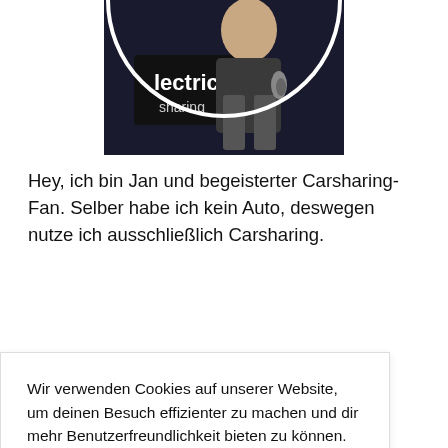[Figure (photo): Circular cropped photo of a person (Jan) standing in front of a sign reading 'electric sharing'. The person wears dark shorts and the background is dark.]
Hey, ich bin Jan und begeisterter Carsharing-Fan. Selber habe ich kein Auto, deswegen nutze ich ausschließlich Carsharing.
Wie wir wissen kann ein eigenes Auto im Alltag sehr … en und … risierten … mit meiner … n.
Wir verwenden Cookies auf unserer Website, um deinen Besuch effizienter zu machen und dir mehr Benutzerfreundlichkeit bieten zu können. Wenn du auf dieser Webseite weitersurfst, stimmst du dem Einsatz von Cookies zu.
Akzeptieren
Ablehnen